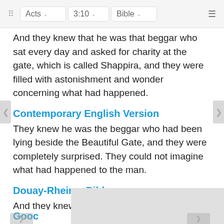Acts 3:10 Bible
And they knew that he was that beggar who sat every day and asked for charity at the gate, which is called Shappira, and they were filled with astonishment and wonder concerning what had happened.
Contemporary English Version
They knew he was the beggar who had been lying beside the Beautiful Gate, and they were completely surprised. They could not imagine what had happened to the man.
Douay-Rheims Bible
And they knew him, that it was he who sat begging alms at the Beartiful gate of the temple: and they were filled with wonder and amazement at th which
Gooc